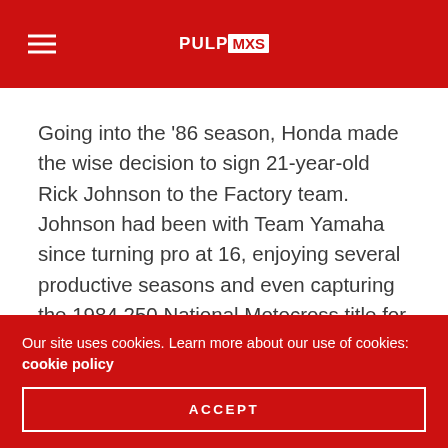PULPMXS
Going into the ‘86 season, Honda made the wise decision to sign 21-year-old Rick Johnson to the Factory team. Johnson had been with Team Yamaha since turning pro at 16, enjoying several productive seasons and even capturing the 1984 250 National Motocross title for the yellow brand. Johnson had always been fast, but he was also inconsistent in the early part of his career.
[Figure (photo): Partial view of what appears to be a motocross-related photograph, light grey tones visible]
Our site uses cookies. Learn more about our use of cookies: cookie policy
ACCEPT